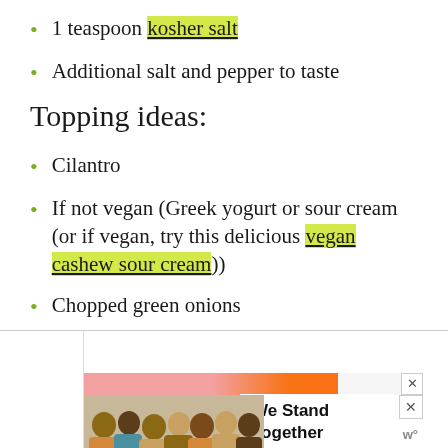1 teaspoon kosher salt
Additional salt and pepper to taste
Topping ideas:
Cilantro
If not vegan (Greek yogurt or sour cream (or if vegan, try this delicious vegan cashew sour cream))
Chopped green onions
[Figure (photo): Advertisement banner with people and 'We Stand Together' text]